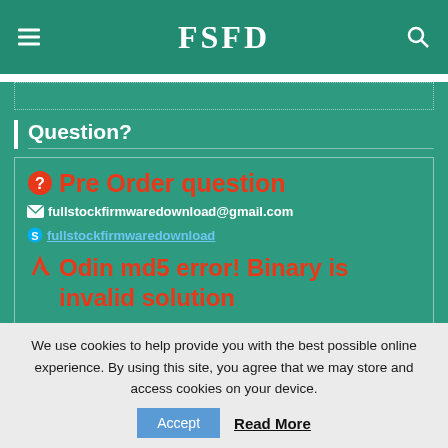FSFD
Question?
Pre Order question
fullstockfirmwaredownload@gmail.com
fullstockfirmwaredownload
Odin md5 error! Binary is invalid solution
1-Right click on the file and choose rename
2-just deleted the .md5 in the end of the filenames and it was
We use cookies to help provide you with the best possible online experience. By using this site, you agree that we may store and access cookies on your device.
Accept
Read More